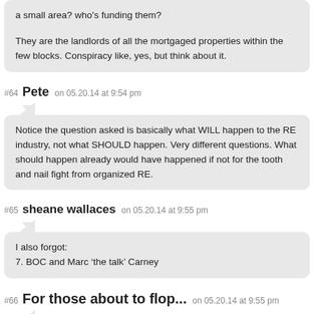a small area? who's funding them?
They are the landlords of all the mortgaged properties within the few blocks. Conspiracy like, yes, but think about it.
#64 Pete on 05.20.14 at 9:54 pm
Notice the question asked is basically what WILL happen to the RE industry, not what SHOULD happen. Very different questions. What should happen already would have happened if not for the tooth and nail fight from organized RE.
#65 sheane wallaces on 05.20.14 at 9:55 pm
I also forgot:
7. BOC and Marc ‘the talk’ Carney
#66 For those about to flop... on 05.20.14 at 9:55 pm